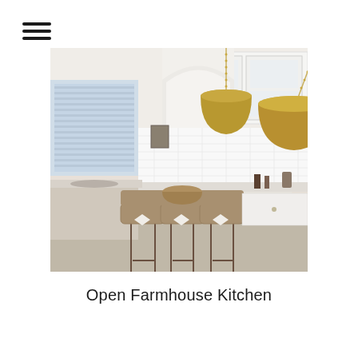[Figure (other): Hamburger menu icon — three horizontal black lines stacked vertically, positioned in the top-left corner]
[Figure (photo): Interior photo of an open farmhouse kitchen featuring white cabinetry, a large island with white marble countertop, three woven bar stools with white bow ties, two large gold dome pendant lights hanging from the ceiling, and white subway tile backsplash]
Open Farmhouse Kitchen